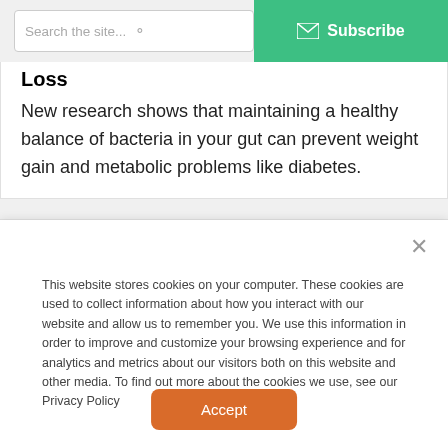Search the site... [search icon] | Subscribe
Loss
New research shows that maintaining a healthy balance of bacteria in your gut can prevent weight gain and metabolic problems like diabetes.
This website stores cookies on your computer. These cookies are used to collect information about how you interact with our website and allow us to remember you. We use this information in order to improve and customize your browsing experience and for analytics and metrics about our visitors both on this website and other media. To find out more about the cookies we use, see our Privacy Policy
Accept